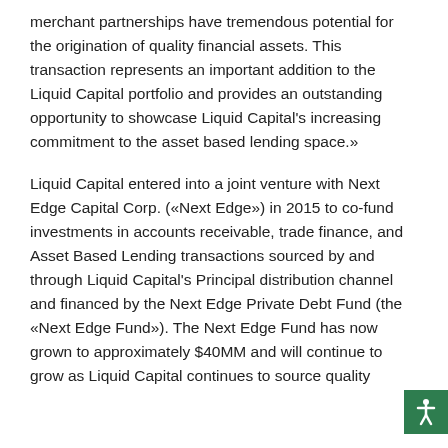merchant partnerships have tremendous potential for the origination of quality financial assets. This transaction represents an important addition to the Liquid Capital portfolio and provides an outstanding opportunity to showcase Liquid Capital's increasing commitment to the asset based lending space.»
Liquid Capital entered into a joint venture with Next Edge Capital Corp. («Next Edge») in 2015 to co-fund investments in accounts receivable, trade finance, and Asset Based Lending transactions sourced by and through Liquid Capital's Principal distribution channel and financed by the Next Edge Private Debt Fund (the «Next Edge Fund»). The Next Edge Fund has now grown to approximately $40MM and will continue to grow as Liquid Capital continues to source quality